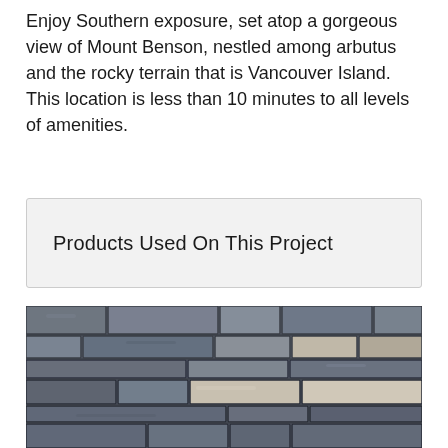Enjoy Southern exposure, set atop a gorgeous view of Mount Benson, nestled among arbutus and the rocky terrain that is Vancouver Island. This location is less than 10 minutes to all levels of amenities.
Products Used On This Project
[Figure (photo): Close-up photograph of a stacked stone wall showing layered flat grey and brown stones of varying sizes mortared together, typical of natural ledge stone veneer used in construction projects.]